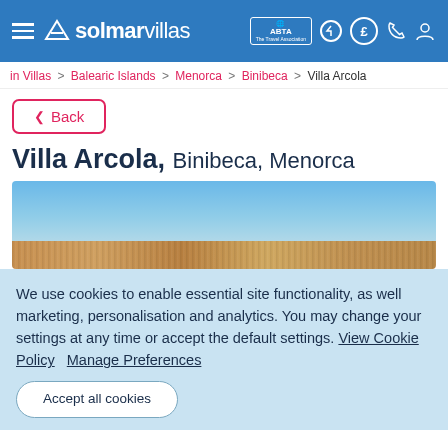solmarvillas — navigation header with ABTA logo and icons
in Villas > Balearic Islands > Menorca > Binibeca > Villa Arcola
< Back
Villa Arcola, Binibeca, Menorca
[Figure (photo): Villa Arcola exterior showing roof structure against clear blue sky]
We use cookies to enable essential site functionality, as well marketing, personalisation and analytics. You may change your settings at any time or accept the default settings. View Cookie Policy   Manage Preferences
Accept all cookies